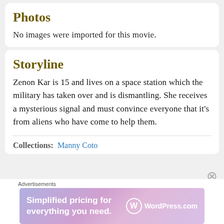Photos
No images were imported for this movie.
Storyline
Zenon Kar is 15 and lives on a space station which the military has taken over and is dismantling. She receives a mysterious signal and must convince everyone that it's from aliens who have come to help them.
Collections:  Manny Coto
[Figure (infographic): WordPress.com advertisement banner: 'Simplified pricing for everything you need.' with WordPress.com logo]
Advertisements